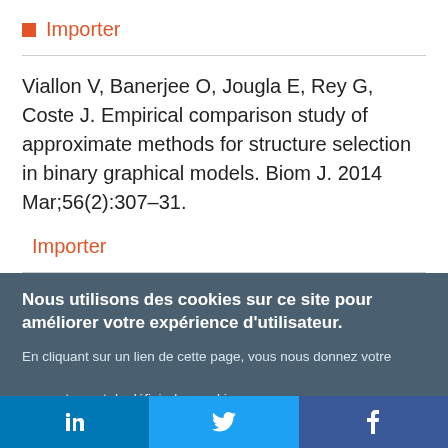■ Importer
Viallon V, Banerjee O, Jougla E, Rey G, Coste J. Empirical comparison study of approximate methods for structure selection in binary graphical models. Biom J. 2014 Mar;56(2):307–31.
■ Importer
Nous utilisons des cookies sur ce site pour améliorer votre expérience d'utilisateur.
En cliquant sur un lien de cette page, vous nous donnez votre consentement de définir des cookies.
Oui, je suis d'accord   Plus d'infos
in   Twitter   f